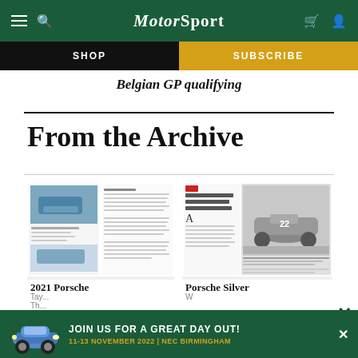MotorSport — SHOP | SUBSCRIBE
Belgian GP qualifying
From the Archive
[Figure (screenshot): Magazine spread thumbnail for 2021 Porsche article showing blue Porsche 911 on road and interior spread]
2021 Porsche
Tay... Th...
[Figure (screenshot): Magazine spread thumbnail for Porsche Silver article showing black and white racing car photo]
Porsche Silver
W
[Figure (photo): Advertisement banner: JOIN US FOR A GREAT DAY OUT! 11-13 NOVEMBER 2022 | NEC BIRMINGHAM with blue Porsche car image]